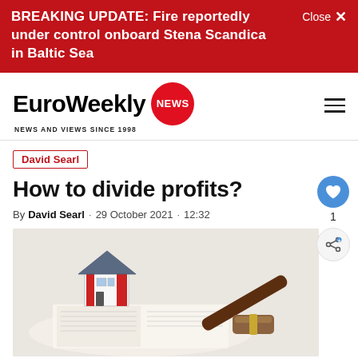BREAKING UPDATE: Fire reportedly under control onboard Stena Scandica in Baltic Sea
[Figure (logo): EuroWeekly NEWS logo with red circle NEWS badge and tagline NEWS AND VIEWS SINCE 1998]
David Searl
How to divide profits?
By David Searl · 29 October 2021 · 12:32
[Figure (photo): Photo of a model house and a judge's gavel resting on an open book, on a white background]